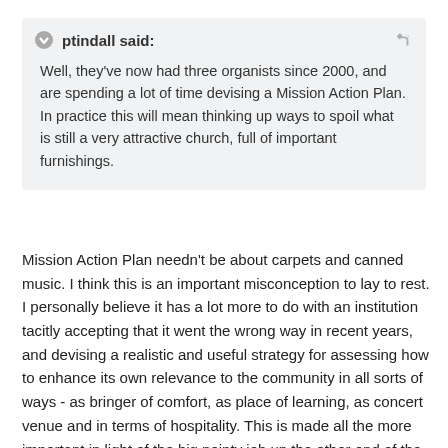ptindall said: Well, they've now had three organists since 2000, and are spending a lot of time devising a Mission Action Plan. In practice this will mean thinking up ways to spoil what is still a very attractive church, full of important furnishings.
Mission Action Plan needn't be about carpets and canned music. I think this is an important misconception to lay to rest. I personally believe it has a lot more to do with an institution tacitly accepting that it went the wrong way in recent years, and devising a realistic and useful strategy for assessing how to enhance its own relevance to the community in all sorts of ways - as bringer of comfort, as place of learning, as concert venue and in terms of hospitality. This is made all the more important in light of the big pointy job up the other end of the high street. An AM congregation of 250 or so against that sort of competition suggests to me that they are doing all the right things, and